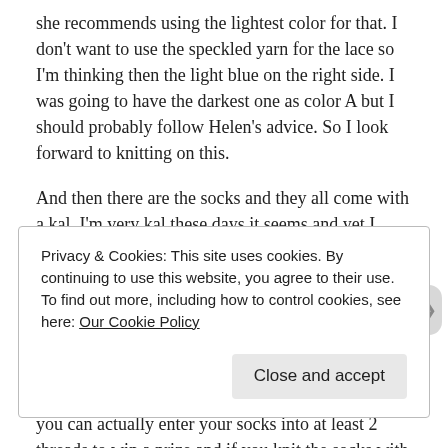she recommends using the lightest color for that. I don't want to use the speckled yarn for the lace so I'm thinking then the light blue on the right side. I was going to have the darkest one as color A but I should probably follow Helen's advice. So I look forward to knitting on this.
And then there are the socks and they all come with a kal. I'm very kal these days it seems and yet I rarely participate in the chatter.
So first it is the Lovealong kal – this kal is being hosted by Dani of the Little Bobbins; Amy of the Periscoping sisters (the designer of the sock pattern) and Christy of Yarn Café Creations who dyed the yarn Amy used in her design. This means you can actually enter your socks into at least 2 threads to win a prize and if you knit the socks with Christy's yarn then you can enter in her group too. So as I have some of her yarns,
Privacy & Cookies: This site uses cookies. By continuing to use this website, you agree to their use.
To find out more, including how to control cookies, see here: Our Cookie Policy